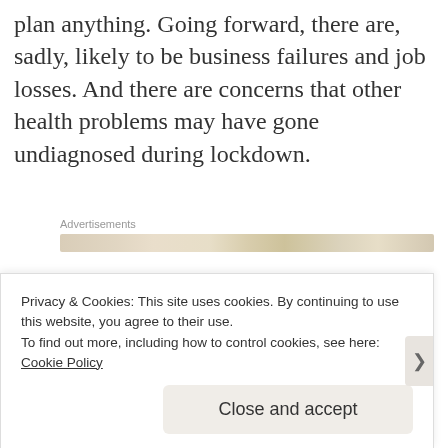plan anything. Going forward, there are, sadly, likely to be business failures and job losses. And there are concerns that other health problems may have gone undiagnosed during lockdown.
[Figure (other): Advertisements banner with label 'Advertisements' and blurred/obscured banner image below]
And those are just the indirect effects of the virus. Tens of thousands of people have died, leaving grieving relatives and friends who
Privacy & Cookies: This site uses cookies. By continuing to use this website, you agree to their use.
To find out more, including how to control cookies, see here: Cookie Policy
Close and accept